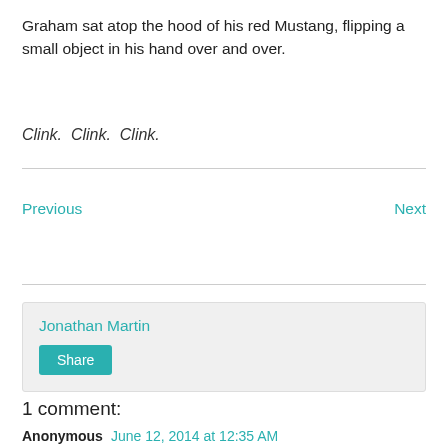Graham sat atop the hood of his red Mustang, flipping a small object in his hand over and over.
Clink.  Clink.  Clink.
Previous
Next
Jonathan Martin
Share
1 comment:
Anonymous  June 12, 2014 at 12:35 AM